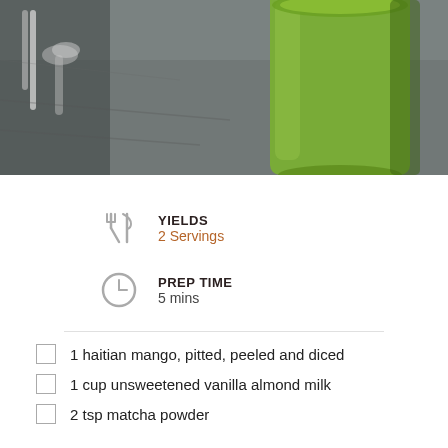[Figure (photo): A glass of green smoothie (matcha/mango) on a gray cloth with spoons in the background]
YIELDS
2 Servings
PREP TIME
5 mins
1 haitian mango, pitted, peeled and diced
1 cup unsweetened vanilla almond milk
2 tsp matcha powder